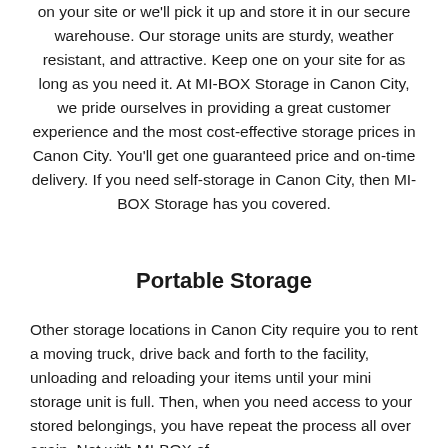on your site or we'll pick it up and store it in our secure warehouse. Our storage units are sturdy, weather resistant, and attractive. Keep one on your site for as long as you need it. At MI-BOX Storage in Canon City, we pride ourselves in providing a great customer experience and the most cost-effective storage prices in Canon City. You'll get one guaranteed price and on-time delivery. If you need self-storage in Canon City, then MI-BOX Storage has you covered.
Portable Storage
Other storage locations in Canon City require you to rent a moving truck, drive back and forth to the facility, unloading and reloading your items until your mini storage unit is full. Then, when you need access to your stored belongings, you have repeat the process all over again. Not with MI-BOX of